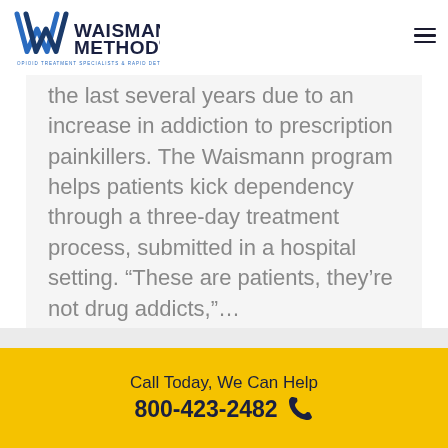[Figure (logo): Waismann Method logo with W-shaped icon and text 'WAISMANN METHOD OPIOID TREATMENT SPECIALISTS & RAPID DETOX CENTER']
the last several years due to an increase in addiction to prescription painkillers. The Waismann program helps patients kick dependency through a three-day treatment process, submitted in a hospital setting. “These are patients, they’re not drug addicts,”…
Details ►
Call Today, We Can Help
800-423-2482